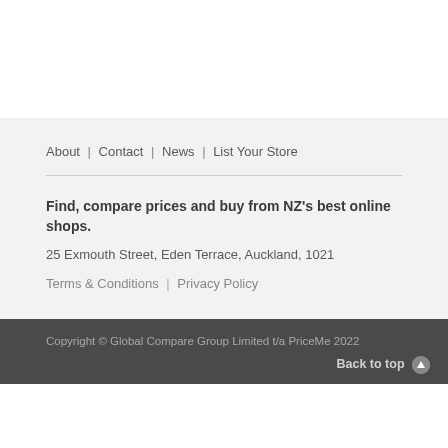About | Contact | News | List Your Store
Find, compare prices and buy from NZ's best online shops.
25 Exmouth Street, Eden Terrace, Auckland, 1021
Terms & Conditions | Privacy Policy
Copyright © Global Compare Group Limited t/a PriceMe 2022
Back to top